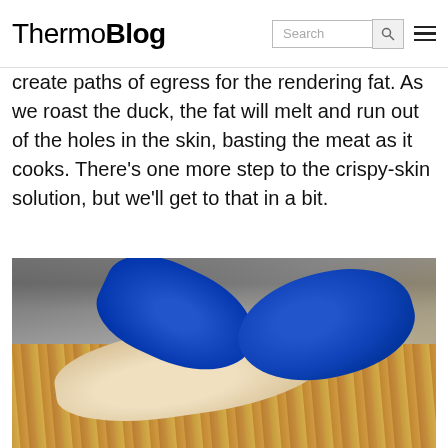ThermoBlog
create paths of egress for the rendering fat. As we roast the duck, the fat will melt and run out of the holes in the skin, basting the meat as it cooks. There’s one more step to the crispy-skin solution, but we’ll get to that in a bit.
[Figure (photo): Person wearing blue nitrile gloves scoring or pricking the skin of a whole raw duck on a wooden cutting board, with kitchen equipment blurred in the background.]